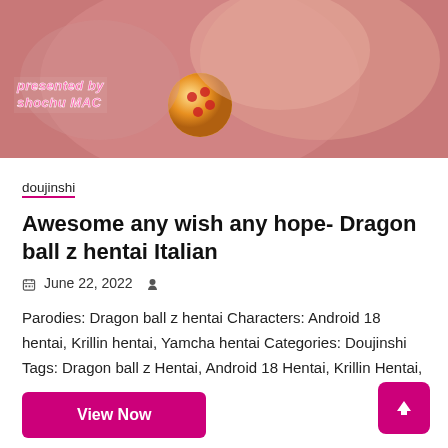[Figure (illustration): Anime/manga style cover image with pink and warm tones, featuring a dragon ball and text overlay reading 'presented by shochu MAC']
doujinshi
Awesome any wish any hope- Dragon ball z hentai Italian
June 22, 2022
Parodies: Dragon ball z hentai Characters: Android 18 hentai, Krillin hentai, Yamcha hentai Categories: Doujinshi Tags: Dragon ball z Hentai, Android 18 Hentai, Krillin Hentai,
View Now